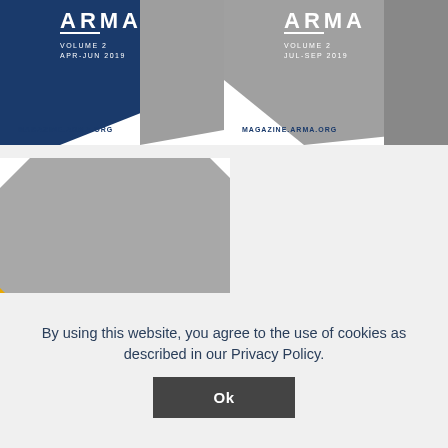[Figure (illustration): ARMA magazine cover - Volume 2 APR-JUN 2019, blue and gray geometric design with MAGAZINE.ARMA.ORG]
[Figure (illustration): ARMA magazine cover - Volume 2 JUL-SEP 2019, gray geometric design with MAGAZINE.ARMA.ORG]
[Figure (illustration): ARMA magazine cover - partial view, large gray octagonal shape with yellow triangle corner and ARMA logo]
By using this website, you agree to the use of cookies as described in our Privacy Policy.
Ok